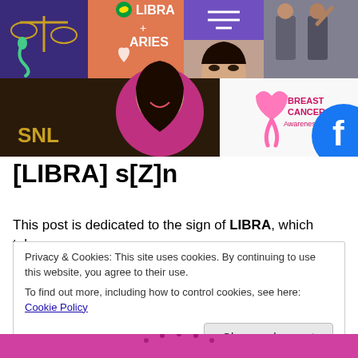[Figure (photo): Collage of images including astrology symbols (Libra scales, snake), Libra + Aries compatibility graphic, a woman with SNL logo (Kim Kardashian), breast cancer awareness pink ribbon, men in suits, Facebook and Instagram logos, and social media thumbnails.]
[LIBRA] s[Z]n
This post is dedicated to the sign of LIBRA, which takes
Privacy & Cookies: This site uses cookies. By continuing to use this website, you agree to their use.
To find out more, including how to control cookies, see here: Cookie Policy
Close and accept
[Figure (photo): Pink background with partial circular decorative element visible at bottom.]